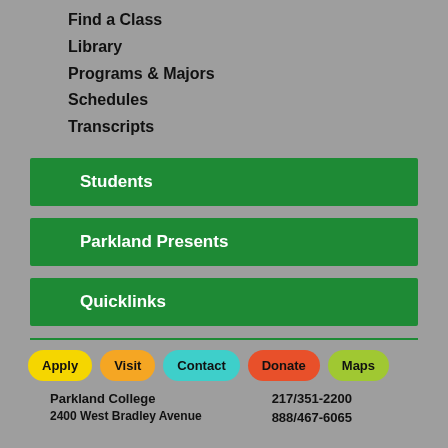Find a Class
Library
Programs & Majors
Schedules
Transcripts
Students
Parkland Presents
Quicklinks
Apply  Visit  Contact  Donate  Maps
Parkland College
2400 West Bradley Avenue
217/351-2200
888/467-6065